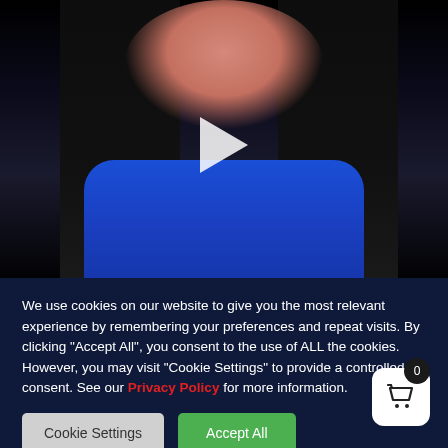[Figure (screenshot): Video thumbnail showing a woman with long dark hair wearing a blue shirt, smiling, with a play button overlay on a dark background.]
We use cookies on our website to give you the most relevant experience by remembering your preferences and repeat visits. By clicking "Accept All", you consent to the use of ALL the cookies. However, you may visit "Cookie Settings" to provide a controlled consent. See our Privacy Policy for more information.